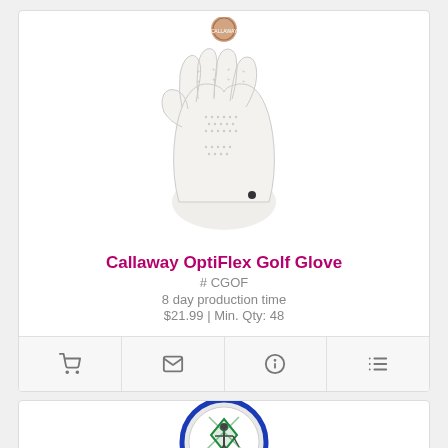[Figure (photo): White Callaway OptiFlex Golf Glove product photo showing the back of the glove with perforations and a copper/rose gold Callaway logo badge at the wrist]
Callaway OptiFlex Golf Glove
# CGOF
8 day production time
$21.99 | Min. Qty: 48
[Figure (logo): Circular logo with blue border, golf player silhouette and green diamond emblem in center, text around the border]